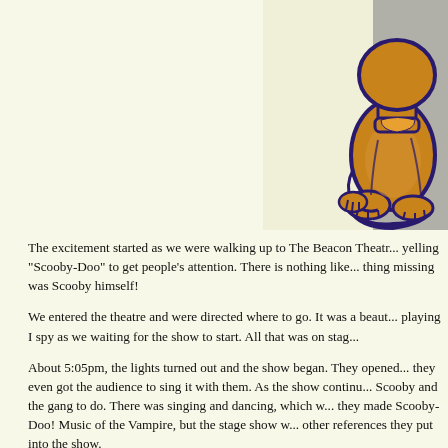[Figure (photo): Photo of a Scooby-Doo cartoon character prop or cutout, showing the brown/orange dog character with dark purple/navy outlines, sitting position, on a gray floor background.]
The excitement started as we were walking up to The Beacon Theatr... yelling "Scooby-Doo" to get people's attention. There is nothing like... thing missing was Scooby himself!
We entered the theatre and were directed where to go. It was a beaut... playing I spy as we waiting for the show to start. All that was on stag...
About 5:05pm, the lights turned out and the show began. They opened... they even got the audience to sing it with them. As the show continu... Scooby and the gang to do. There was singing and dancing, which w... they made Scooby-Doo! Music of the Vampire, but the stage show w... other references they put into the show.
I was worried about how the show would be since I had seen some b...